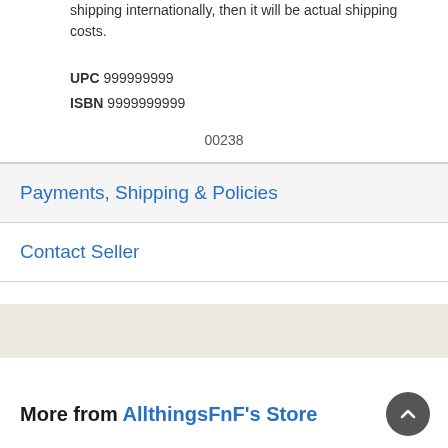shipping internationally, then it will be actual shipping costs.
UPC 999999999
ISBN 9999999999
00238
Payments, Shipping & Policies
Contact Seller
More from AllthingsFnF's Store